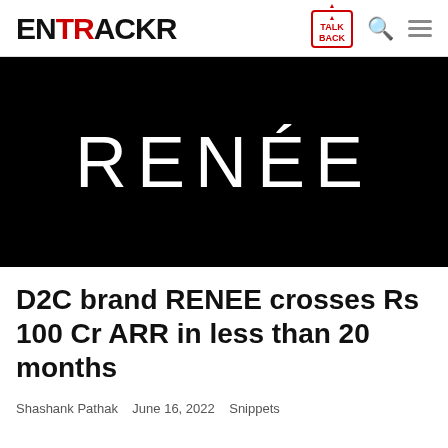ENTRACKR – TALK BACK
[Figure (logo): RENÉE brand logo in white text on black background]
D2C brand RENEE crosses Rs 100 Cr ARR in less than 20 months
Shashank Pathak   June 16, 2022   Snippets